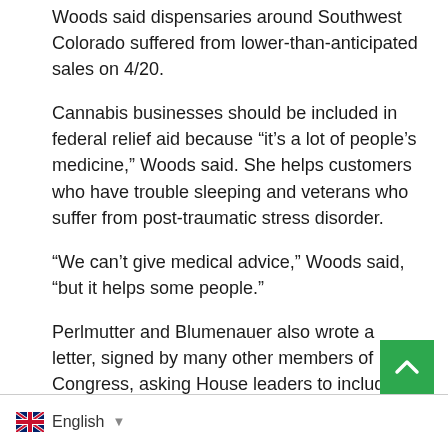Woods said dispensaries around Southwest Colorado suffered from lower-than-anticipated sales on 4/20.
Cannabis businesses should be included in federal relief aid because “it’s a lot of people’s medicine,” Woods said. She helps customers who have trouble sleeping and veterans who suffer from post-traumatic stress disorder.
“We can’t give medical advice,” Woods said, “but it helps some people.”
Perlmutter and Blumenauer also wrote a letter, signed by many other members of Congress, asking House leaders to include cannabis businesses in the next COVID-19 package. Rep. Joe Neguse, D-Colo., and Rep. Diana DeGette, D-Colo., also signed the letter.
“State-legal cannabis businesses need access to CARES A… programs to ensure they have the fi…